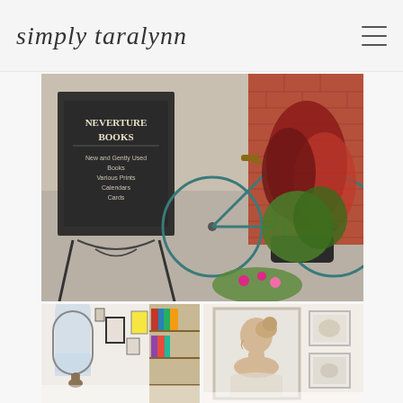simply taralynn
[Figure (photo): Outdoor bookstore sign reading 'Neverture Books' with a teal bicycle and colorful plants including pink flowers against a brick wall]
[Figure (photo): Interior of a bookstore or eclectic shop with framed artwork and posters on white walls, wooden shelves with books]
[Figure (photo): Close-up of framed vintage artwork showing a profile portrait of a person, with additional framed art pieces beside it]